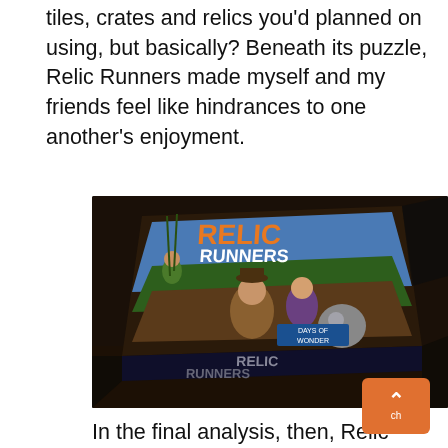tiles, crates and relics you'd planned on using, but basically? Beneath its puzzle, Relic Runners made myself and my friends feel like hindrances to one another's enjoyment.
[Figure (photo): A photograph of the Relic Runners board game box by Days of Wonder, shown at an angle on a dark wooden table. The box art shows cartoon-style adventurer characters and the title 'RELIC RUNNERS' in large orange letters, with a 'DAYS OF WONDER' label visible.]
In the final analysis, then, Relic Runners feels like a game where between two and five people sit around a beautiful board, but never quite interact with each other. A game where you're always winning, but never